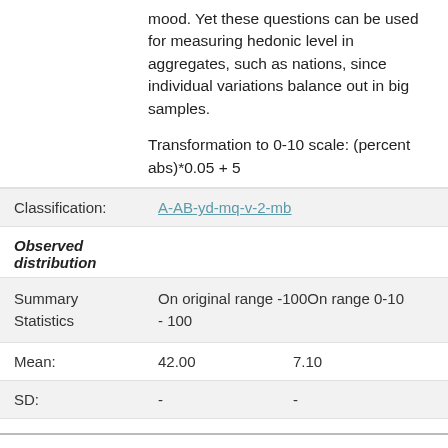mood. Yet these questions can be used for measuring hedonic level in aggregates, such as nations, since individual variations balance out in big samples.

Transformation to 0-10 scale: (percent abs)*0.05 + 5
| Classification: | A-AB-yd-mq-v-2-mb |
| --- | --- |
| Observed distribution |  |
| Summary Statistics | On original range -100On range 0-10
- 100 |
| Mean: | 42.00	7.10 |
| SD: | -	- |
Full text:	Self report on single question: